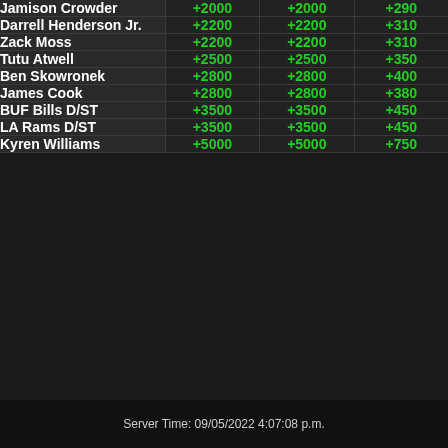| Player | Col1 | Col2 | Col3 |
| --- | --- | --- | --- |
| Jamison Crowder | +2000 | +2000 | +290 |
| Darrell Henderson Jr. | +2200 | +2200 | +310 |
| Zack Moss | +2200 | +2200 | +310 |
| Tutu Atwell | +2500 | +2500 | +350 |
| Ben Skowronek | +2800 | +2800 | +400 |
| James Cook | +2800 | +2800 | +380 |
| BUF Bills D/ST | +3500 | +3500 | +450 |
| LA Rams D/ST | +3500 | +3500 | +450 |
| Kyren Williams | +5000 | +5000 | +750 |
Server Time: 09/05/2022 4:07:08 p.m.